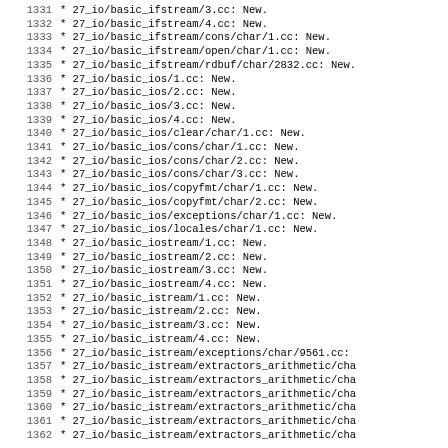1331    * 27_io/basic_ifstream/3.cc: New.
1332    * 27_io/basic_ifstream/4.cc: New.
1333    * 27_io/basic_ifstream/cons/char/1.cc: New.
1334    * 27_io/basic_ifstream/open/char/1.cc: New.
1335    * 27_io/basic_ifstream/rdbuf/char/2832.cc: New.
1336    * 27_io/basic_ios/1.cc: New.
1337    * 27_io/basic_ios/2.cc: New.
1338    * 27_io/basic_ios/3.cc: New.
1339    * 27_io/basic_ios/4.cc: New.
1340    * 27_io/basic_ios/clear/char/1.cc: New.
1341    * 27_io/basic_ios/cons/char/1.cc: New.
1342    * 27_io/basic_ios/cons/char/2.cc: New.
1343    * 27_io/basic_ios/cons/char/3.cc: New.
1344    * 27_io/basic_ios/copyfmt/char/1.cc: New.
1345    * 27_io/basic_ios/copyfmt/char/2.cc: New.
1346    * 27_io/basic_ios/exceptions/char/1.cc: New.
1347    * 27_io/basic_ios/locales/char/1.cc: New.
1348    * 27_io/basic_iostream/1.cc: New.
1349    * 27_io/basic_iostream/2.cc: New.
1350    * 27_io/basic_iostream/3.cc: New.
1351    * 27_io/basic_iostream/4.cc: New.
1352    * 27_io/basic_istream/1.cc: New.
1353    * 27_io/basic_istream/2.cc: New.
1354    * 27_io/basic_istream/3.cc: New.
1355    * 27_io/basic_istream/4.cc: New.
1356    * 27_io/basic_istream/exceptions/char/9561.cc:
1357    * 27_io/basic_istream/extractors_arithmetic/cha
1358    * 27_io/basic_istream/extractors_arithmetic/cha
1359    * 27_io/basic_istream/extractors_arithmetic/cha
1360    * 27_io/basic_istream/extractors_arithmetic/cha
1361    * 27_io/basic_istream/extractors_arithmetic/cha
1362    * 27_io/basic_istream/extractors_arithmetic/cha